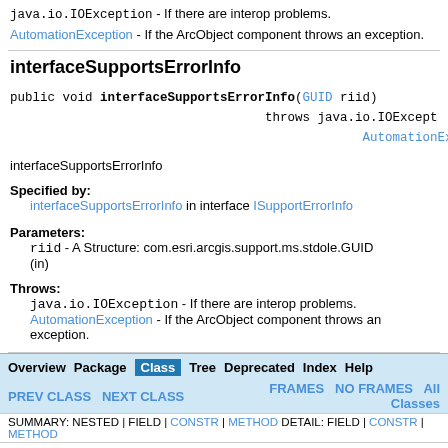java.io.IOException - If there are interop problems. AutomationException - If the ArcObject component throws an exception.
interfaceSupportsErrorInfo
public void interfaceSupportsErrorInfo(GUID riid)
    throws java.io.IOException,
           AutomationException
interfaceSupportsErrorInfo
Specified by:
interfaceSupportsErrorInfo in interface ISupportErrorInfo
Parameters:
riid - A Structure: com.esri.arcgis.support.ms.stdole.GUID (in)
Throws:
java.io.IOException - If there are interop problems. AutomationException - If the ArcObject component throws an exception.
Overview Package Class Tree Deprecated Index Help | PREV CLASS NEXT CLASS | FRAMES NO FRAMES All Classes | SUMMARY: NESTED | FIELD | CONSTR | METHOD DETAIL: FIELD | CONSTR | METHOD